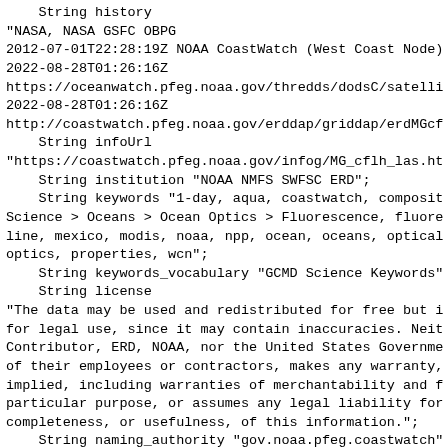String history
"NASA, NASA GSFC OBPG
2012-07-01T22:28:19Z NOAA CoastWatch (West Coast Node)
2022-08-28T01:26:16Z
https://oceanwatch.pfeg.noaa.gov/thredds/dodsC/satelli
2022-08-28T01:26:16Z
http://coastwatch.pfeg.noaa.gov/erddap/griddap/erdMGcf
    String infoUrl
"https://coastwatch.pfeg.noaa.gov/infog/MG_cflh_las.ht
    String institution "NOAA NMFS SWFSC ERD";
    String keywords "1-day, aqua, coastwatch, composit
Science > Oceans > Ocean Optics > Fluorescence, fluore
line, mexico, modis, noaa, npp, ocean, oceans, optical
optics, properties, wcn";
    String keywords_vocabulary "GCMD Science Keywords"
    String license
"The data may be used and redistributed for free but i
for legal use, since it may contain inaccuracies. Neit
Contributor, ERD, NOAA, nor the United States Governme
of their employees or contractors, makes any warranty,
implied, including warranties of merchantability and f
particular purpose, or assumes any legal liability for
completeness, or usefulness, of this information.";
    String naming_authority "gov.noaa.pfeg.coastwatch"
    Float64 Northernmost_Northing 33.0;
    String origin "NASA, NASA GSFC OBPG";